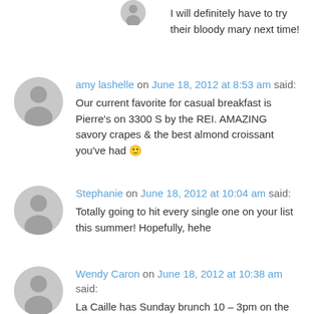I will definitely have to try their bloody mary next time!
amy lashelle on June 18, 2012 at 8:53 am said:
Our current favorite for casual breakfast is Pierre's on 3300 S by the REI. AMAZING savory crapes & the best almond croissant you've had 🙂
Stephanie on June 18, 2012 at 10:04 am said:
Totally going to hit every single one on your list this summer! Hopefully, hehe
Wendy Caron on June 18, 2012 at 10:38 am said:
La Caille has Sunday brunch 10 – 3pm on the beautiful patio. The grounds look amazing and we have three new baby peacocks!